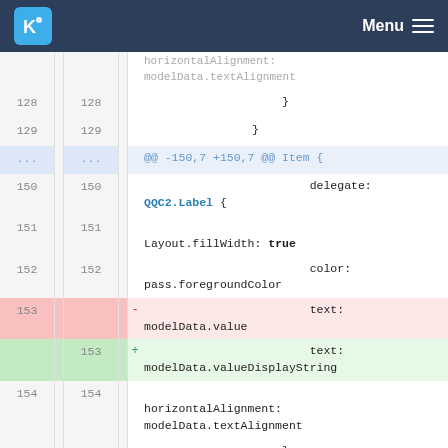KDE Menu
[Figure (screenshot): Code diff view showing QML file changes. Lines 128-129 show closing braces. Lines 150-152 show delegate: QQC2.Label { Layout.fillWidth: true, color: pass.foregroundColor. Line 153 deleted: text: modelData.value. Line 153 added: text: modelData.valueDisplayString. Lines 154-156 show horizontalAlignment: modelData.textAlignment and closing braces.]